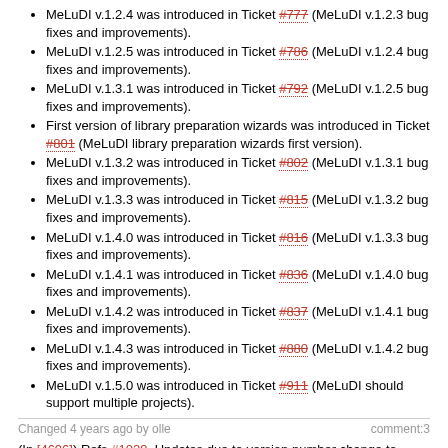MeLuDI v.1.2.4 was introduced in Ticket #777 (MeLuDI v.1.2.3 bug fixes and improvements).
MeLuDI v.1.2.5 was introduced in Ticket #786 (MeLuDI v.1.2.4 bug fixes and improvements).
MeLuDI v.1.3.1 was introduced in Ticket #792 (MeLuDI v.1.2.5 bug fixes and improvements).
First version of library preparation wizards was introduced in Ticket #801 (MeLuDI library preparation wizards first version).
MeLuDI v.1.3.2 was introduced in Ticket #802 (MeLuDI v.1.3.1 bug fixes and improvements).
MeLuDI v.1.3.3 was introduced in Ticket #815 (MeLuDI v.1.3.2 bug fixes and improvements).
MeLuDI v.1.4.0 was introduced in Ticket #816 (MeLuDI v.1.3.3 bug fixes and improvements).
MeLuDI v.1.4.1 was introduced in Ticket #836 (MeLuDI v.1.4.0 bug fixes and improvements).
MeLuDI v.1.4.2 was introduced in Ticket #837 (MeLuDI v.1.4.1 bug fixes and improvements).
MeLuDI v.1.4.3 was introduced in Ticket #880 (MeLuDI v.1.4.2 bug fixes and improvements).
MeLuDI v.1.5.0 was introduced in Ticket #911 (MeLuDI should support multiple projects).
Changed 4 years ago by olle   comment:3
(In [4696]) Refs #1029. Updates due to version number change to "1.6.0-dev".
1. Version number changed to "1.6.0-dev":